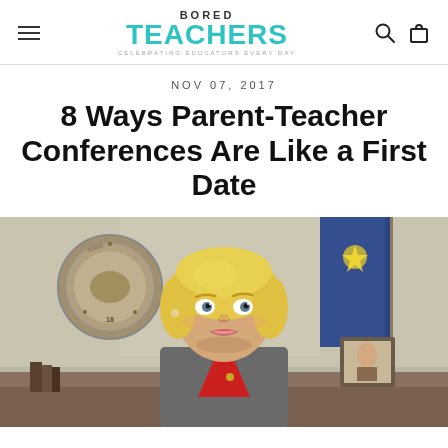BORED TEACHERS — Celebrating Educators Every Day
NOV 07, 2017
8 Ways Parent-Teacher Conferences Are Like a First Date
[Figure (photo): A blonde woman in a grey blazer and red shirt sitting at a desk with a serious/surprised expression, with an official seal on the wall behind her and a blue flag to the right — scene from a TV show (Parks and Recreation).]